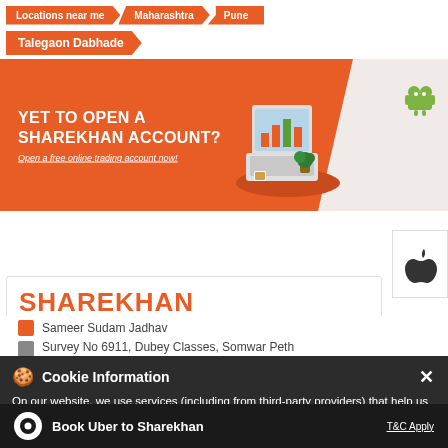Locations near me > Maharashtra > Pune
Talegaon Dabhade
[Figure (screenshot): Sharekhan promotional banner with orange background showing 'YET TO OPEN A SHAREKHAN ACCOUNT? Open a free online trading account now!' with laptop illustration and Android/Apple app store icons]
SHAREKHAN
Sameer Sudam Jadhav
Survey No 6911, Dubey Classes, Somwar Peth
Closed for the day
Cookie Information
On our website, we use services (including from third-party providers) that help us to improve our online presence (optimization of website) and to display content that is geared to their interests. We need your consent before being able to use these services.
Book Uber to Sharekhan
T&C Apply